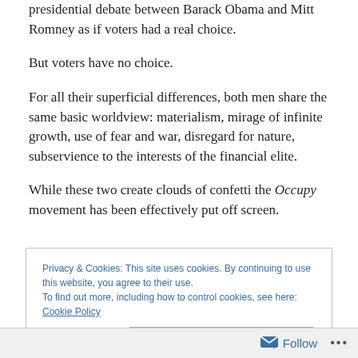presidential debate between Barack Obama and Mitt Romney as if voters had a real choice.
But voters have no choice.
For all their superficial differences, both men share the same basic worldview: materialism, mirage of infinite growth, use of fear and war, disregard for nature, subservience to the interests of the financial elite.
While these two create clouds of confetti the Occupy movement has been effectively put off screen.
Privacy & Cookies: This site uses cookies. By continuing to use this website, you agree to their use.
To find out more, including how to control cookies, see here: Cookie Policy
Close and accept
Follow ...